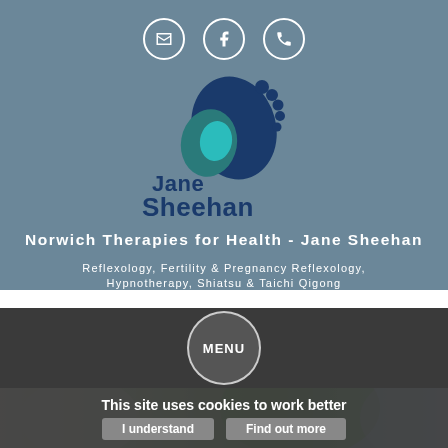[Figure (logo): Jane Sheehan logo with two foot silhouettes forming a heart shape, teal and dark blue, with text 'Jane Sheehan']
Norwich Therapies for Health - Jane Sheehan
Reflexology, Fertility & Pregnancy Reflexology, Hypnotherapy, Shiatsu & Taichi Qigong
for Norwich and Norfolk
MENU
[Figure (photo): Blurred background photo showing hands performing therapy, green foliage visible]
This site uses cookies to work better
I understand
Find out more